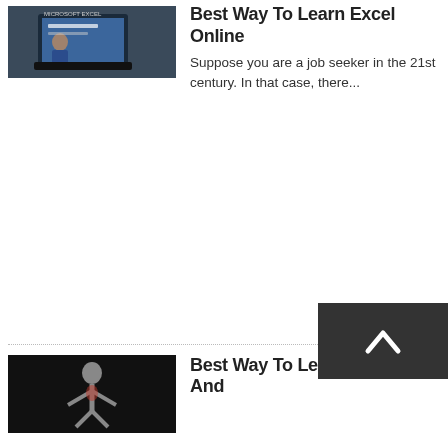[Figure (photo): Person using a laptop with Microsoft Excel, small thumbnail image]
Best Way To Learn Excel Online
Suppose you are a job seeker in the 21st century. In that case, there...
[Figure (photo): Anatomy figure illustration, dark background thumbnail]
Best Way To Learn Anatomy And
[Figure (other): Dark grey scroll-to-top button with upward chevron arrow]